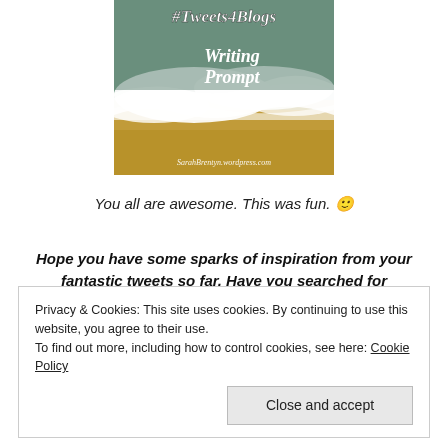[Figure (illustration): Ocean wave photo with text overlay: #Tweets4Blogs Writing Prompt, SarahBrentyn.wordpress.com]
You all are awesome. This was fun. 🙂
Hope you have some sparks of inspiration from your fantastic tweets so far. Have you searched for yourself yet? Did you find anything to expand?
Privacy & Cookies: This site uses cookies. By continuing to use this website, you agree to their use.
To find out more, including how to control cookies, see here: Cookie Policy